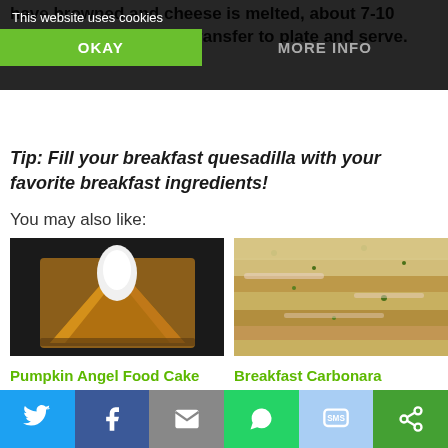have browned and cheese is melted, about 7-10 minutes. Remove and transfer to plate and serve.
This website uses cookies
OKAY
MORE INFO
Tip: Fill your breakfast quesadilla with your favorite breakfast ingredients!
You may also like:
[Figure (photo): Pumpkin Angel Food Cake with Caramel Sauce - food photo showing a triangular pastry with white cream on dark background]
Pumpkin Angel Food Cake with Caramel Sauce CLINTON KELLY
[Figure (photo): Breakfast Carbonara Casserole - food photo showing a layered casserole dish with herbs]
Breakfast Carbonara Casserole CLINTON KELLY
[Figure (infographic): Social share bar with Twitter, Facebook, Email, WhatsApp, SMS, and other sharing icons]